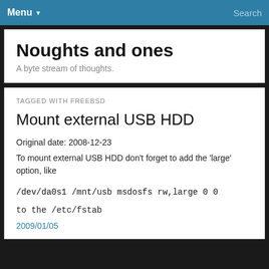Menu ▾   Search
Noughts and ones
A byte stream of thoughts.
TAGGED WITH FREEBSD
Mount external USB HDD
Original date: 2008-12-23
To mount external USB HDD don't forget to add the 'large' option, like
/dev/da0s1 /mnt/usb msdosfs rw,large 0 0
to the /etc/fstab
2009/01/05